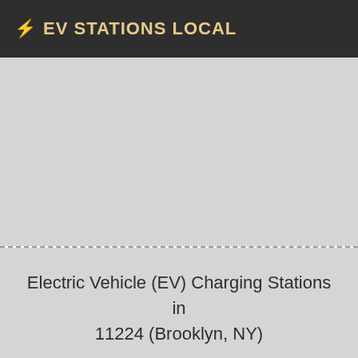⚡ EV STATIONS LOCAL
[Figure (map): Gray placeholder map area showing a local map for EV charging stations in Brooklyn, NY 11224]
Electric Vehicle (EV) Charging Stations in 11224 (Brooklyn, NY)